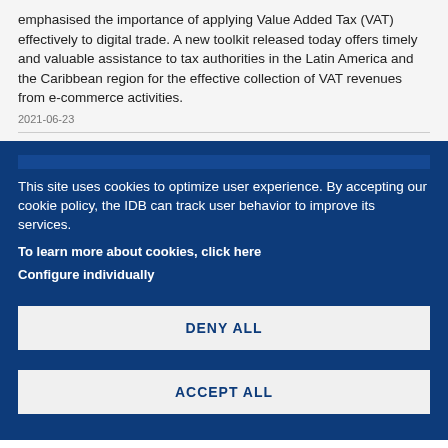emphasised the importance of applying Value Added Tax (VAT) effectively to digital trade. A new toolkit released today offers timely and valuable assistance to tax authorities in the Latin America and the Caribbean region for the effective collection of VAT revenues from e-commerce activities.
2021-06-23
This site uses cookies to optimize user experience. By accepting our cookie policy, the IDB can track user behavior to improve its services.
To learn more about cookies, click here
Configure individually
DENY ALL
ACCEPT ALL